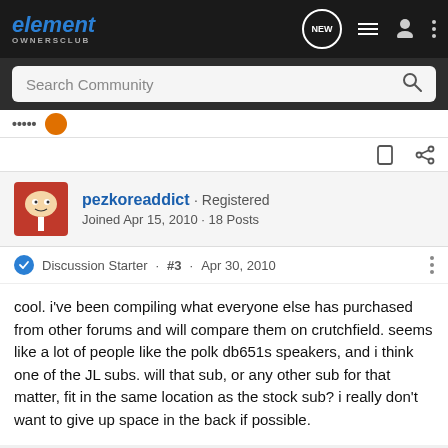element OWNERSCLUB
Search Community
pezkoreaddict · Registered
Joined Apr 15, 2010 · 18 Posts
Discussion Starter · #3 · Apr 30, 2010
cool. i've been compiling what everyone else has purchased from other forums and will compare them on crutchfield. seems like a lot of people like the polk db651s speakers, and i think one of the JL subs. will that sub, or any other sub for that matter, fit in the same location as the stock sub? i really don't want to give up space in the back if possible.